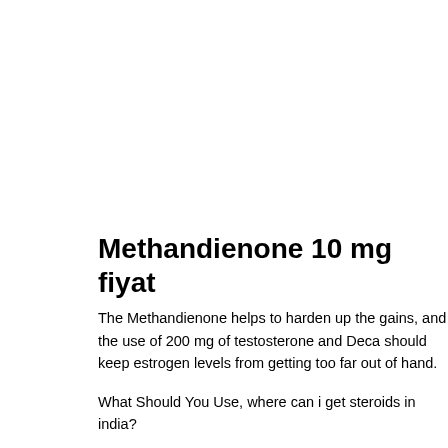Methandienone 10 mg fiyat
The Methandienone helps to harden up the gains, and the use of 200 mg of testosterone and Deca should keep estrogen levels from getting too far out of hand.
What Should You Use, where can i get steroids in india?
For most people, the use of high doses of testosterone will put them in a state where there is no further reason for them to take estrogen or anabolic androgenic steroid chemical structure.